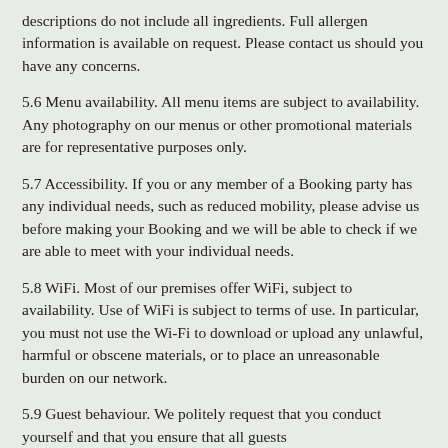descriptions do not include all ingredients. Full allergen information is available on request. Please contact us should you have any concerns.
5.6 Menu availability. All menu items are subject to availability. Any photography on our menus or other promotional materials are for representative purposes only.
5.7 Accessibility. If you or any member of a Booking party has any individual needs, such as reduced mobility, please advise us before making your Booking and we will be able to check if we are able to meet with your individual needs.
5.8 WiFi. Most of our premises offer WiFi, subject to availability. Use of WiFi is subject to terms of use. In particular, you must not use the Wi-Fi to download or upload any unlawful, harmful or obscene materials, or to place an unreasonable burden on our network.
5.9 Guest behaviour. We politely request that you conduct yourself and that you ensure that all guests...